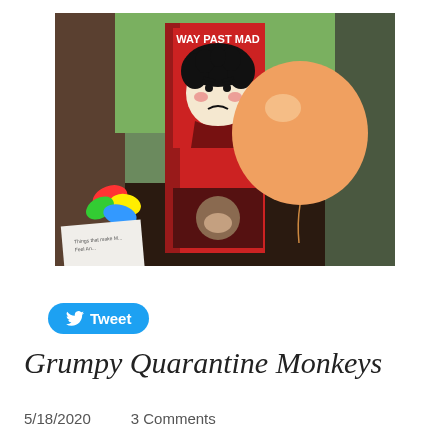[Figure (photo): A photo showing a red children's book titled 'WAY PAST MAD' with a cartoon illustration of an angry girl with curly black hair, standing next to a large inflated orange balloon on a dark table. To the left are colorful deflated balloons and a piece of paper with handwriting.]
Tweet
Grumpy Quarantine Monkeys
5/18/2020    3 Comments